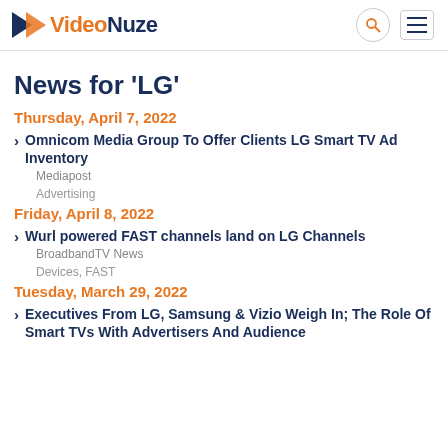VideoNuze
News for 'LG'
Thursday, April 7, 2022
Omnicom Media Group To Offer Clients LG Smart TV Ad Inventory
Mediapost
Advertising
Friday, April 8, 2022
Wurl powered FAST channels land on LG Channels
BroadbandTV News
Devices, FAST
Tuesday, March 29, 2022
Executives From LG, Samsung & Vizio Weigh In; The Role Of Smart TVs With Advertisers And Audience